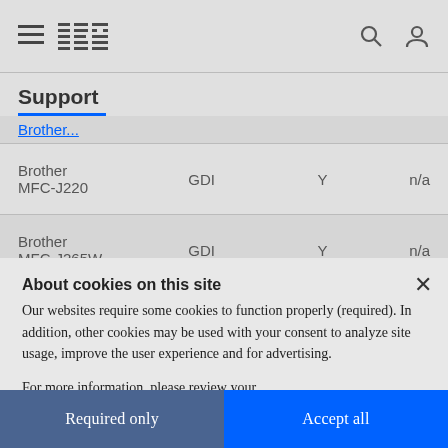IBM Support
Support
|  |  |  |  |
| --- | --- | --- | --- |
| Brother MFC-J220 | GDI | Y | n/a |
| Brother MFC-J265W | GDI | Y | n/a |
About cookies on this site
Our websites require some cookies to function properly (required). In addition, other cookies may be used with your consent to analyze site usage, improve the user experience and for advertising.
For more information, please review your Cookie preferences options and IBM's privacy statement.